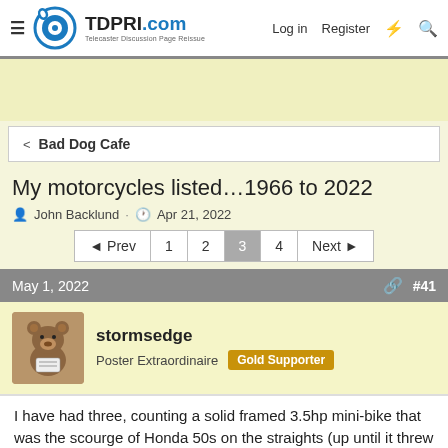TDPRI.com — Telecaster Discussion Page Reissue | Log in | Register
My motorcycles listed…1966 to 2022
John Backlund · Apr 21, 2022
◄ Prev  1  2  3  4  Next ►
May 1, 2022  #41
stormsedge
Poster Extraordinaire  Gold Supporter
I have had three, counting a solid framed 3.5hp mini-bike that was the scourge of Honda 50s on the straights (up until it threw a rod.. shouldn't have tampered with the governor 🤣😂)